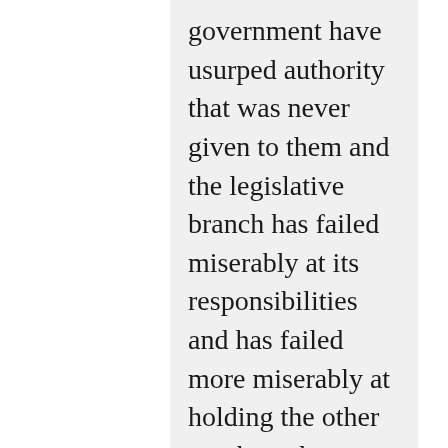government have usurped authority that was never given to them and the legislative branch has failed miserably at its responsibilities and has failed more miserably at holding the other two branches within the boundaries of their responsibilities. It is good to see you back in writing mode again Robert. Each read you post is well thought out and displays a great